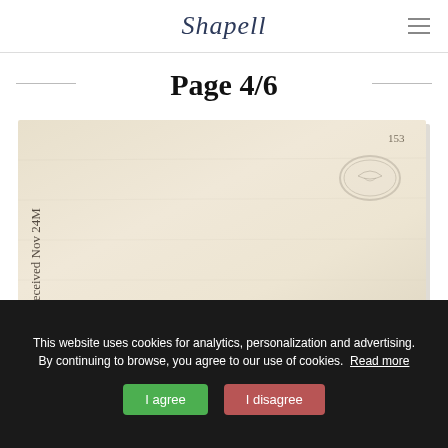Shapell
Page 4/6
[Figure (photo): Photograph of the back of an aged envelope or folded letter with cream/beige paper. Handwritten text in cursive appears along the left edge reading 'Received Nov 24M'. A small embossed oval seal/stamp appears in the upper right area. The number '153' is written in the upper right corner.]
This website uses cookies for analytics, personalization and advertising. By continuing to browse, you agree to our use of cookies. Read more
I agree
I disagree